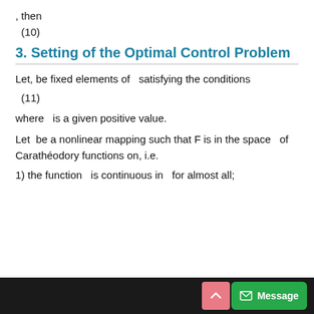, then
3. Setting of the Optimal Control Problem
Let, be fixed elements of  satisfying the conditions
where  is a given positive value.
Let  be a nonlinear mapping such that F is in the space  of Carathéodory functions on, i.e.
1) the function  is continuous in  for almost all;